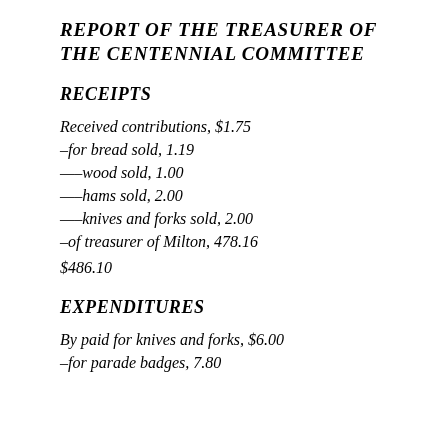REPORT OF THE TREASURER OF THE CENTENNIAL COMMITTEE
RECEIPTS
Received contributions, $1.75
–for bread sold, 1.19
—–wood sold, 1.00
—–hams sold, 2.00
—–knives and forks sold, 2.00
–of treasurer of Milton, 478.16
$486.10
EXPENDITURES
By paid for knives and forks, $6.00
–for parade badges, 7.80